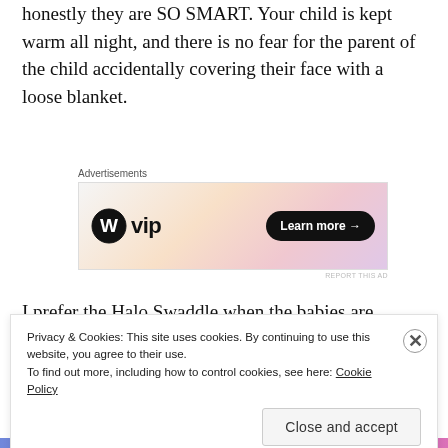honestly they are SO SMART. Your child is kept warm all night, and there is no fear for the parent of the child accidentally covering their face with a loose blanket.
[Figure (other): WordPress VIP advertisement banner with gradient orange/pink background and 'Learn more →' button]
I prefer the Halo Swaddle when the babies are younger and like the swaddle feel. I find that the wings provide the best protection against the newborn startle reflex, and they are the most comfortable. I also like their
Privacy & Cookies: This site uses cookies. By continuing to use this website, you agree to their use.
To find out more, including how to control cookies, see here: Cookie Policy
Close and accept